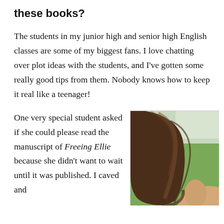these books?
The students in my junior high and senior high English classes are some of my biggest fans. I love chatting over plot ideas with the students, and I've gotten some really good tips from them. Nobody knows how to keep it real like a teenager!
One very special student asked if she could please read the manuscript of Freeing Ellie because she didn't want to wait until it was published. I caved and
[Figure (photo): A young woman viewed from behind, with long brown hair, sitting outdoors with a blurred green field/landscape in the background.]